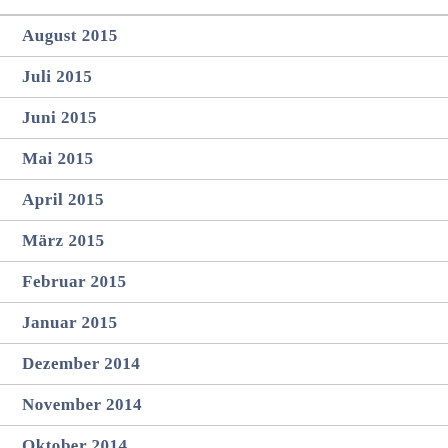August 2015
Juli 2015
Juni 2015
Mai 2015
April 2015
März 2015
Februar 2015
Januar 2015
Dezember 2014
November 2014
Oktober 2014